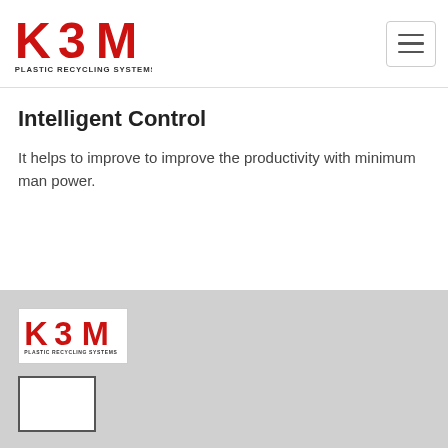[Figure (logo): K3M Plastic Recycling Systems logo in red, top navigation bar with hamburger menu]
Intelligent Control
It helps to improve to improve the productivity with minimum man power.
[Figure (logo): K3M Plastic Recycling Systems logo in red on white background in footer]
[Figure (other): Small white rectangle box outline]
B-9/10 J.K. Industrial Estate, Behind Hotel Novelty, Near Virar Fata, Kherpada, Virar (East) Mumbai - 401305, INDIA